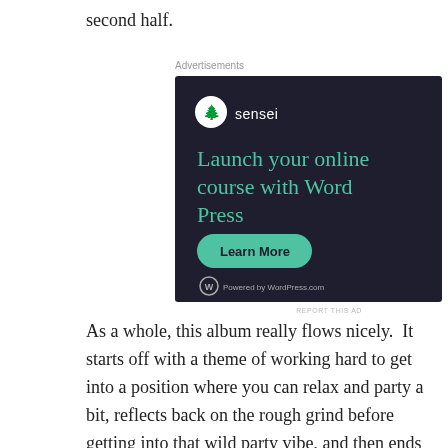second half.
Advertisements
[Figure (other): Sensei advertisement: dark background with teal text reading 'Launch your online course with WordPress', a 'Learn More' button, and 'Powered by WordPress.com' footer with WordPress logo.]
REPORT THIS AD
As a whole, this album really flows nicely.  It starts off with a theme of working hard to get into a position where you can relax and party a bit, reflects back on the rough grind before getting into that wild party vibe, and then ends with that lightheaded feeling you get